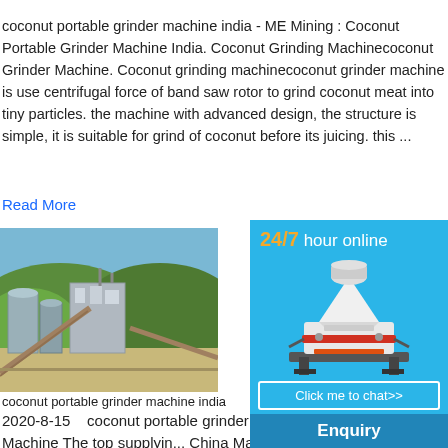coconut portable grinder machine india - ME Mining : Coconut Portable Grinder Machine India. Coconut Grinding Machinecoconut Grinder Machine. Coconut grinding machinecoconut grinder machine is use centrifugal force of band saw rotor to grind coconut meat into tiny particles. the machine with advanced design, the structure is simple, it is suitable for grind of coconut before its juicing. this ...
Read More
[Figure (photo): Industrial plant or factory facility with conveyor belts and silos, set against green hills and blue sky]
coconut portable grinder machine india
2020-8-15   coconut portable grinder mach... Coconut Grinding Machine The top supplyin... China Mainland India and Vietnam which s... of dried coconut grinding machine respectivel... grinding machine products are most popula... a
[Figure (infographic): Side panel advertisement with blue background. Shows '24/7 hour online' text in gold/white, an image of a cone crusher machine, a 'Click me to chat>>' button, 'Enquiry' section, and 'limingjlmofen' text at bottom.]